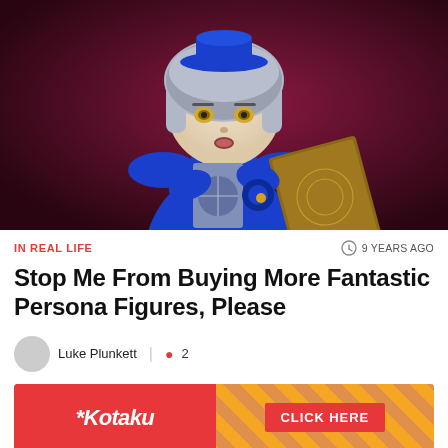[Figure (photo): Close-up photo of a blue-clothed anime-style figure with silver bob hair, yellow eyes, blue hat, holding a card and a brown book with etched designs, against a dark maroon background]
IN REAL LIFE
9 YEARS AGO
Stop Me From Buying More Fantastic Persona Figures, Please
Luke Plunkett  |  2
[Figure (other): Kotaku advertisement banner with red background on left showing Kotaku logo and orange diagonal-striped section on right with CLICK HERE button]